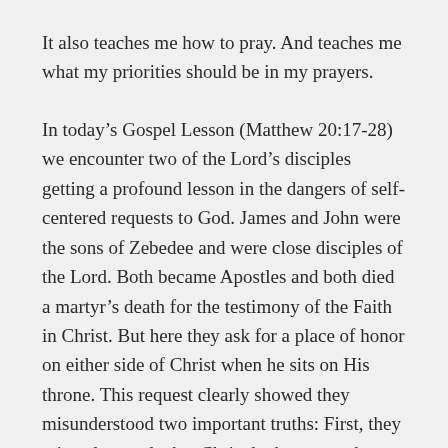It also teaches me how to pray. And teaches me what my priorities should be in my prayers.
In today’s Gospel Lesson (Matthew 20:17-28) we encounter two of the Lord’s disciples getting a profound lesson in the dangers of self-centered requests to God. James and John were the sons of Zebedee and were close disciples of the Lord. Both became Apostles and both died a martyr’s death for the testimony of the Faith in Christ. But here they ask for a place of honor on either side of Christ when he sits on His throne. This request clearly showed they misunderstood two important truths: First, they misunderstood what Christ had come to do. They thought He was going to establish a political kingdom and they wanted in on the ground floor of the new administration! Second, they completely